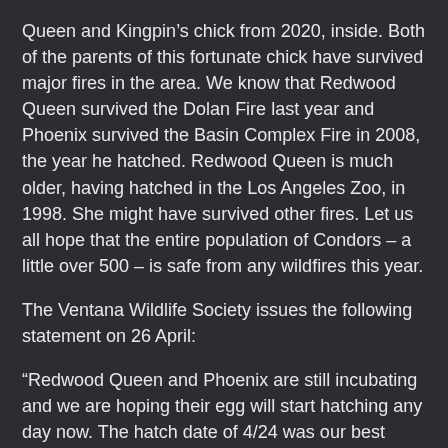Queen and Kingpin's chick from 2020, inside. Both of the parents of this fortunate chick have survived major fires in the area. We know that Redwood Queen survived the Dolan Fire last year and Phoenix survived the Basin Complex Fire in 2008, the year he hatched. Redwood Queen is much older, having hatched in the Los Angeles Zoo, in 1998. She might have survived other fires. Let us all hope that the entire population of Condors – a little over 500 – is safe from any wildfires this year.
The Ventana Wildlife Society issues the following statement on 26 April:
“Redwood Queen and Phoenix are still incubating and we are hoping their egg will start hatching any day now. The hatch date of 4/24 was our best “guesstimate”, we could be off by as many as 2-4 days. We first observed the egg on March 3rd and estimated the egg was laid on 2/26. This